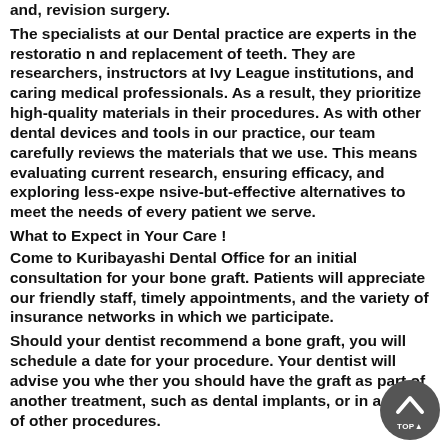and, revision surgery. The specialists at our Dental practice are experts in the restoration and replacement of teeth. They are researchers, instructors at Ivy League institutions, and caring medical professionals. As a result, they prioritize high-quality materials in their procedures. As with other dental devices and tools in our practice, our team carefully reviews the materials that we use. This means evaluating current research, ensuring efficacy, and exploring less-expensive-but-effective alternatives to meet the needs of every patient we serve.
What to Expect in Your Care !
Come to Kuribayashi Dental Office for an initial consultation for your bone graft. Patients will appreciate our friendly staff, timely appointments, and the variety of insurance networks in which we participate.
Should your dentist recommend a bone graft, you will schedule a date for your procedure. Your dentist will advise you whether you should have the graft as part of another treatment, such as dental implants, or in advance of other procedures.
The graft can take anywhere from one hour to several hours de